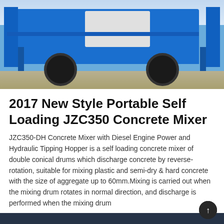[Figure (photo): Blue JZC350 concrete mixer machine with diesel engine, showing tires, support legs, and white housing component, photographed outdoors on a paved surface]
2017 New Style Portable Self Loading JZC350 Concrete Mixer
JZC350-DH Concrete Mixer with Diesel Engine Power and Hydraulic Tipping Hopper is a self loading concrete mixer of double conical drums which discharge concrete by reverse-rotation, suitable for mixing plastic and semi-dry & hard concrete with the size of aggregate up to 60mm.Mixing is carried out when the mixing drum rotates in normal direction, and discharge is performed when the mixing drum
Learn More